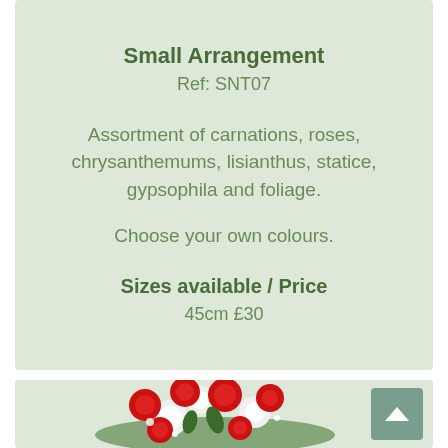Small Arrangement
Ref: SNT07
Assortment of carnations, roses, chrysanthemums, lisianthus, statice, gypsophila and foliage.
Choose your own colours.
Sizes available / Price
45cm £30
[Figure (photo): Red and white flower arrangement (carnations, roses, chrysanthemums) viewed from above on a light green background]